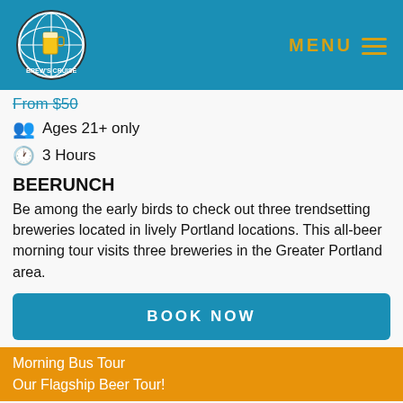MENU (navigation header with logo)
From $50 (strikethrough)
Ages 21+ only
3 Hours
BEERUNCH
Be among the early birds to check out three trendsetting breweries located in lively Portland locations. This all-beer morning tour visits three breweries in the Greater Portland area.
BOOK NOW
Morning Bus Tour
Our Flagship Beer Tour!
From $110 (strikethrough)
Ages 21+ only
3.75
THE CASCO FIASCO